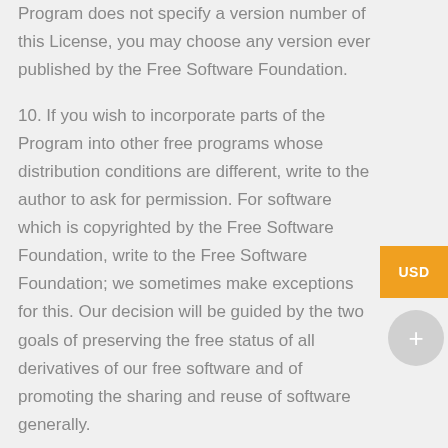Program does not specify a version number of this License, you may choose any version ever published by the Free Software Foundation.
10. If you wish to incorporate parts of the Program into other free programs whose distribution conditions are different, write to the author to ask for permission. For software which is copyrighted by the Free Software Foundation, write to the Free Software Foundation; we sometimes make exceptions for this. Our decision will be guided by the two goals of preserving the free status of all derivatives of our free software and of promoting the sharing and reuse of software generally.
NO WARRANTY